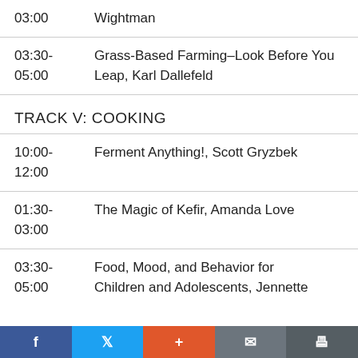03:00	Wightman
03:30-05:00	Grass-Based Farming–Look Before You Leap, Karl Dallefeld
TRACK V: COOKING
10:00-12:00	Ferment Anything!, Scott Gryzbek
01:30-03:00	The Magic of Kefir, Amanda Love
03:30-05:00	Food, Mood, and Behavior for Children and Adolescents, Jennette